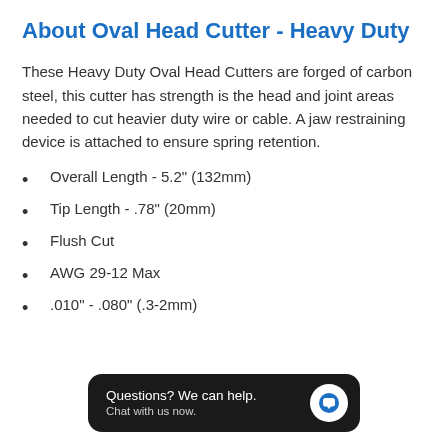About Oval Head Cutter - Heavy Duty
These Heavy Duty Oval Head Cutters are forged of carbon steel, this cutter has strength is the head and joint areas needed to cut heavier duty wire or cable. A jaw restraining device is attached to ensure spring retention.
Overall Length - 5.2" (132mm)
Tip Length - .78" (20mm)
Flush Cut
AWG 29-12 Max
.010" - .080" (.3-2mm)
Questions? We can help. Chat with us now.